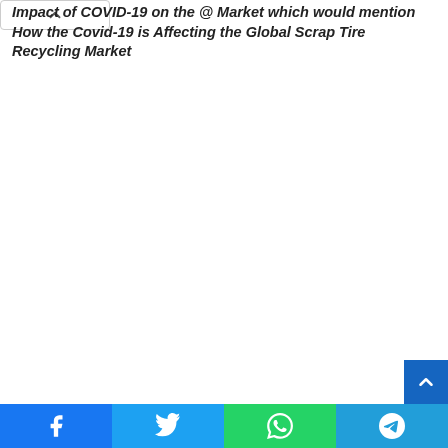Impact of COVID-19 on the @ Market which would mention How the Covid-19 is Affecting the Global Scrap Tire Recycling Market
Share buttons: Facebook, Twitter, WhatsApp, Telegram